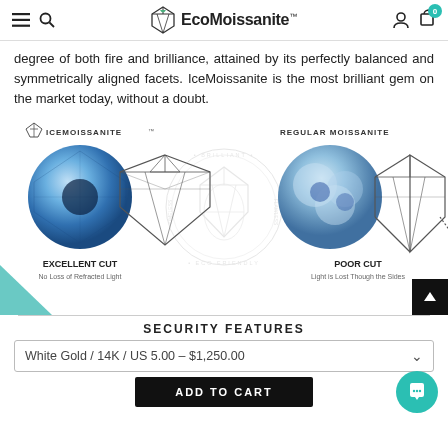EcoMoissanite™ — navigation header with menu, search, brand logo, user icon, cart (0)
degree of both fire and brilliance, attained by its perfectly balanced and symmetrically aligned facets. IceMoissanite is the most brilliant gem on the market today, without a doubt.
[Figure (illustration): Comparison diagram showing IceMoissanite (excellent cut, no loss of refracted light) versus Regular Moissanite (poor cut, light is lost though the sides). Includes two blue gem circles and diamond facet diagrams, with a watermark seal in the center.]
SECURITY FEATURES
White Gold / 14K / US 5.00 – $1,250.00
ADD TO CART